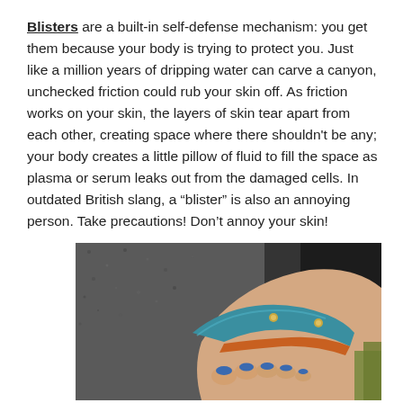Blisters are a built-in self-defense mechanism: you get them because your body is trying to protect you. Just like a million years of dripping water can carve a canyon, unchecked friction could rub your skin off. As friction works on your skin, the layers of skin tear apart from each other, creating space where there shouldn't be any; your body creates a little pillow of fluid to fill the space as plasma or serum leaks out from the damaged cells. In outdated British slang, a “blister” is also an annoying person. Take precautions! Don’t annoy your skin!
[Figure (photo): Close-up photo of a foot wearing a sandal with a teal/blue leather strap with metal studs, showing toes with blue nail polish against a grey asphalt background]